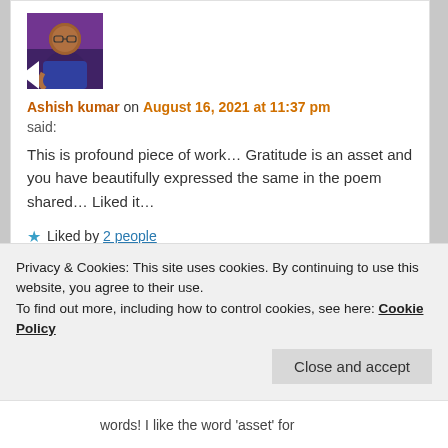[Figure (photo): Profile photo of Ashish kumar, a man in a blue shirt with glasses, purple-lit background]
Ashish kumar on August 16, 2021 at 11:37 pm
said:
This is profound piece of work… Gratitude is an asset and you have beautifully expressed the same in the poem shared… Liked it…
★ Liked by 2 people
Reply ↓
Privacy & Cookies: This site uses cookies. By continuing to use this website, you agree to their use.
To find out more, including how to control cookies, see here: Cookie Policy
Close and accept
words! I like the word 'asset' for